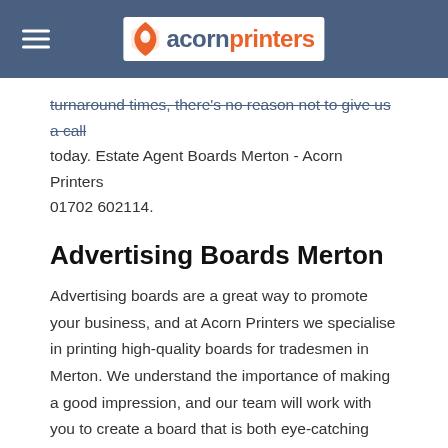acornprinters
turnaround times, there's no reason not to give us a call today. Estate Agent Boards Merton - Acorn Printers 01702 602114.
Advertising Boards Merton
Advertising boards are a great way to promote your business, and at Acorn Printers we specialise in printing high-quality boards for tradesmen in Merton. We understand the importance of making a good impression, and our team will work with you to create a board that is both eye-catching and informative. We use only the highest quality materials, and our printing process ensures that your board will stand up to the weather and wear and tear. To find out more about our advertising boards service, or to get a quote, please call us on